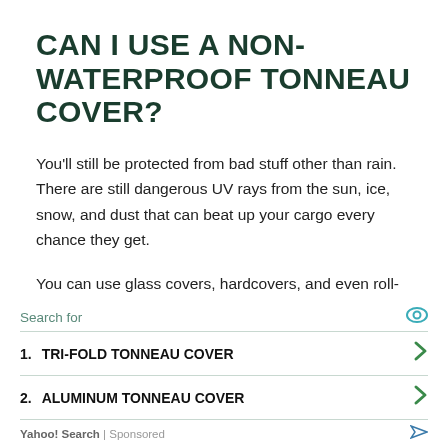CAN I USE A NON-WATERPROOF TONNEAU COVER?
You'll still be protected from bad stuff other than rain. There are still dangerous UV rays from the sun, ice, snow, and dust that can beat up your cargo every chance they get.
You can use glass covers, hardcovers, and even roll-up covers as long as that's the only concern you have. Additionally, there are seal kits available for the tailgate
1. TRI-FOLD TONNEAU COVER
2. ALUMINUM TONNEAU COVER
Yahoo! Search | Sponsored